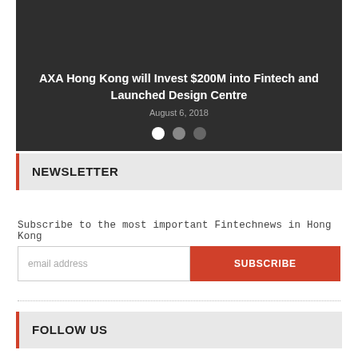[Figure (photo): Dark hero card showing a photo of people at the top (partially visible), with headline and date overlay on dark background, and navigation dots below.]
AXA Hong Kong will Invest $200M into Fintech and Launched Design Centre
August 6, 2018
NEWSLETTER
Subscribe to the most important Fintechnews in Hong Kong
email address
SUBSCRIBE
FOLLOW US